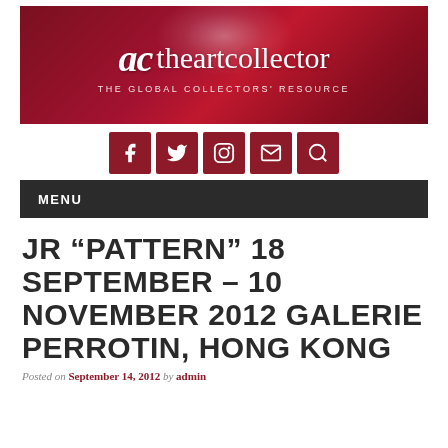[Figure (logo): ac theartcollector banner — dark red/crimson gradient background with white spotlight, italic 'ac' logo mark followed by 'theartcollector' in serif font, subtitle 'THE GLOBAL COLLECTORS' RESOURCE' in small caps]
[Figure (infographic): Row of five dark red square social media icons: Facebook (f), Twitter (bird), Instagram (camera), Email (envelope), Search (magnifying glass)]
MENU
JR “PATTERN” 18 SEPTEMBER – 10 NOVEMBER 2012 GALERIE PERROTIN, HONG KONG
Posted on September 14, 2012 by admin